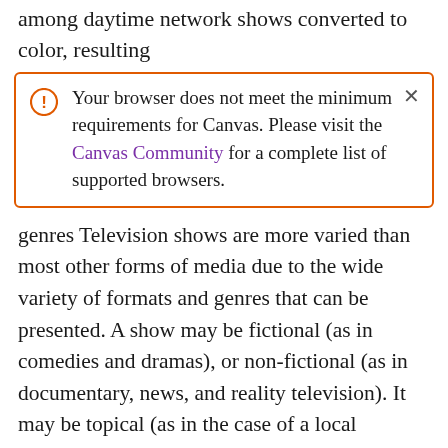among daytime network shows converted to color, resulting
[Figure (screenshot): Browser alert dialog box with orange border and exclamation icon. Text reads: 'Your browser does not meet the minimum requirements for Canvas. Please visit the Canvas Community for a complete list of supported browsers.' with a close (×) button.]
genres Television shows are more varied than most other forms of media due to the wide variety of formats and genres that can be presented. A show may be fictional (as in comedies and dramas), or non-fictional (as in documentary, news, and reality television). It may be topical (as in the case of a local newscast and some made-for-television films), or historical (as in the case of many documentaries and fictional MOVIE). They could be primarily instructional or educational, or entertaining as is the case in situation comedy and game shows.[citation needed] A drama program usually features a set of actors playing characters in a historical or contemporary setting. The program follows their lives and adventures. Before the 1980s, shows (except for soap opera-type serials) typically remained static